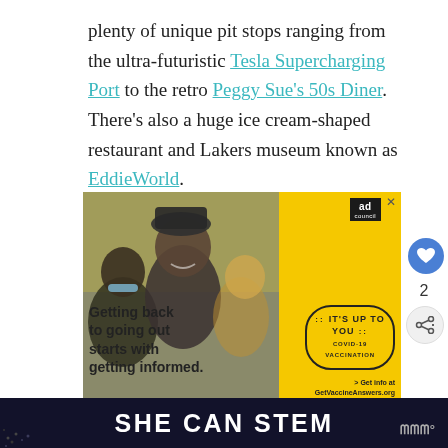plenty of unique pit stops ranging from the ultra-futuristic Tesla Supercharging Port to the retro Peggy Sue's 50s Diner. There's also a huge ice cream-shaped restaurant and Lakers museum known as EddieWorld.
[Figure (photo): Advertisement by Ad Council: COVID-19 vaccination campaign. Yellow background with photo of people laughing outdoors. Text reads 'Getting back to going out starts with getting informed.' Badge reads 'IT'S UP TO YOU COVID-19 VACCINATION'. Footer: '> Get info at GetVaccineAnswers.org']
SHE CAN STEM